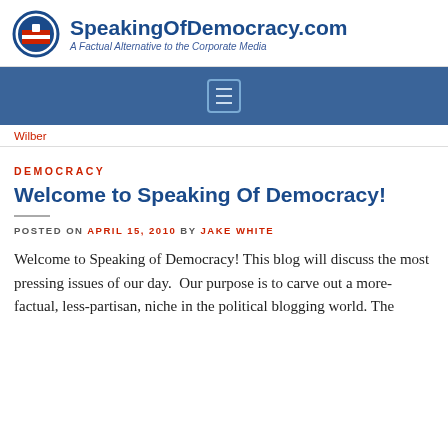SpeakingOfDemocracy.com — A Factual Alternative to the Corporate Media
Wilber
DEMOCRACY
Welcome to Speaking Of Democracy!
POSTED ON APRIL 15, 2010 BY JAKE WHITE
Welcome to Speaking of Democracy! This blog will discuss the most pressing issues of our day.  Our purpose is to carve out a more-factual, less-partisan, niche in the political blogging world. The